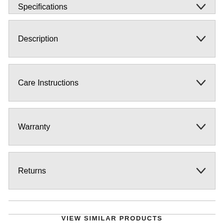Specifications
Description
Care Instructions
Warranty
Returns
VIEW SIMILAR PRODUCTS